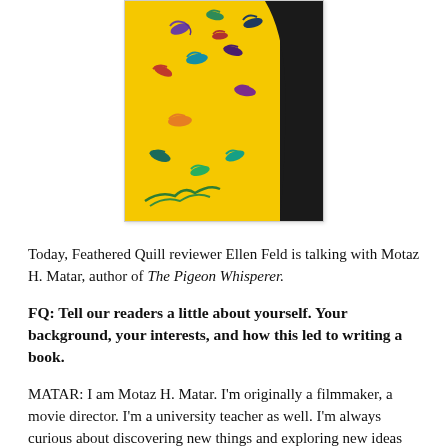[Figure (illustration): Book cover of The Pigeon Whisperer showing colorful birds flying against a yellow background with a dark figure on the right side]
Today, Feathered Quill reviewer Ellen Feld is talking with Motaz H. Matar, author of The Pigeon Whisperer.
FQ: Tell our readers a little about yourself. Your background, your interests, and how this led to writing a book.
MATAR: I am Motaz H. Matar. I'm originally a filmmaker, a movie director. I'm a university teacher as well. I'm always curious about discovering new things and exploring new ideas and storylines. I've started making short films 10+ years ago and I was always interested in finding different storylines and platforms...